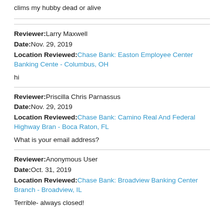clims my hubby dead or alive
Reviewer: Larry Maxwell
Date: Nov. 29, 2019
Location Reviewed: Chase Bank: Easton Employee Center Banking Cente - Columbus, OH
hi
Reviewer: Priscilla Chris Parnassus
Date: Nov. 29, 2019
Location Reviewed: Chase Bank: Camino Real And Federal Highway Bran - Boca Raton, FL
What is your email address?
Reviewer: Anonymous User
Date: Oct. 31, 2019
Location Reviewed: Chase Bank: Broadview Banking Center Branch - Broadview, IL
Terrible- always closed!